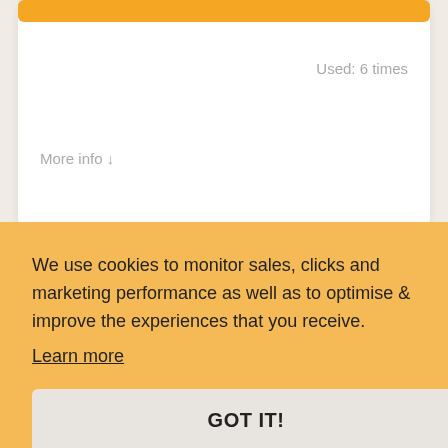Used: 6 times
More info ↓
Register To The Newsletter For The Latest Deals &
We use cookies to monitor sales, clicks and marketing performance as well as to optimise & improve the experiences that you receive.
Learn more
GOT IT!
mes